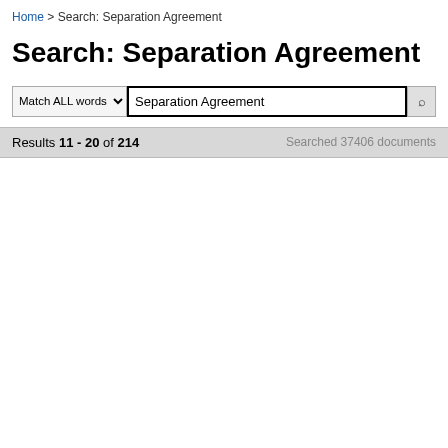Home > Search: Separation Agreement
Search: Separation Agreement
Match ALL words [dropdown]  Separation Agreement [search button]
Results 11 - 20 of 214    Searched 37406 documents